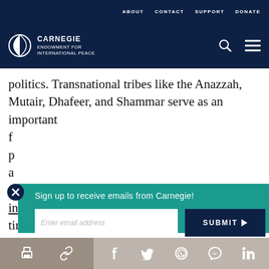ABOUT   CONTACT   SUPPORT   DONATE
[Figure (logo): Carnegie Endowment for International Peace logo with white circle/globe icon and text]
politics. Transnational tribes like the Anazzah, Mutair, Dhafeer, and Shammar serve as an important f[unction in regional] p[olitics] a[nd] n[etworks] i[nfluencing the administration of affairs during] times of political contention. For example, when trib[es]...
Sign up to receive emails from Carnegie!
[print] [link] [facebook] [twitter] [whatsapp] [messenger] [linkedin]